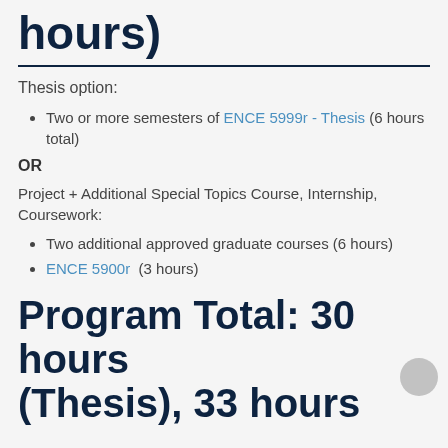hours)
Thesis option:
Two or more semesters of ENCE 5999r - Thesis (6 hours total)
OR
Project + Additional Special Topics Course, Internship, Coursework:
Two additional approved graduate courses (6 hours)
ENCE 5900r  (3 hours)
Program Total: 30 hours (Thesis), 33 hours